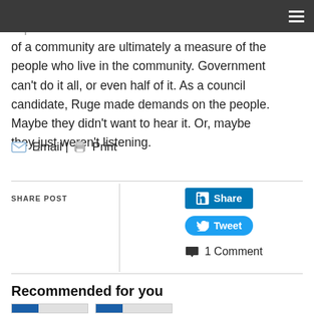participation and downtown vitality, but these aspects of a community are ultimately a measure of the people who live in the community. Government can’t do it all, or even half of it. As a council candidate, Ruge made demands on the people. Maybe they didn’t want to hear it. Or, maybe they just weren’t listening.
Email | Print
SHARE POST
Share
Tweet
1 Comment
Recommended for you